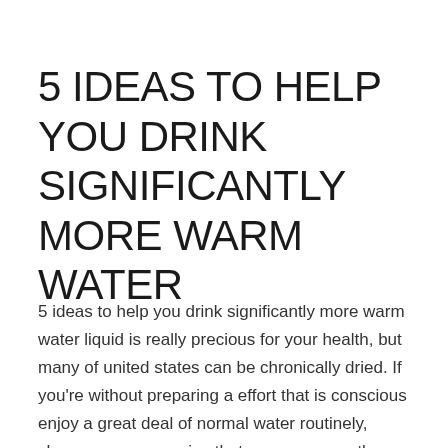5 IDEAS TO HELP YOU DRINK SIGNIFICANTLY MORE WARM WATER
5 ideas to help you drink significantly more warm water liquid is really precious for your health, but many of united states can be chronically dried. If you're without preparing a effort that is conscious enjoy a great deal of normal water routinely, chances are excessive that you are currently thirsty. Some the signs of [...]